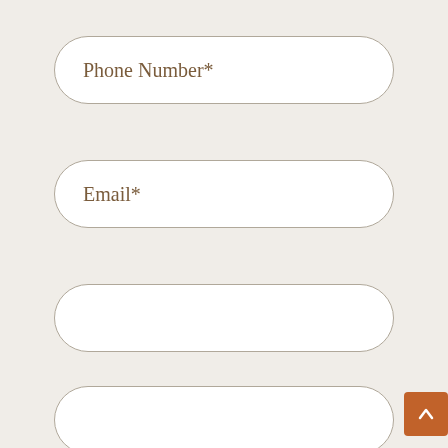Phone Number*
Email*
[Figure (other): Scroll-to-top button with upward chevron arrow, brown/orange square button at bottom right]